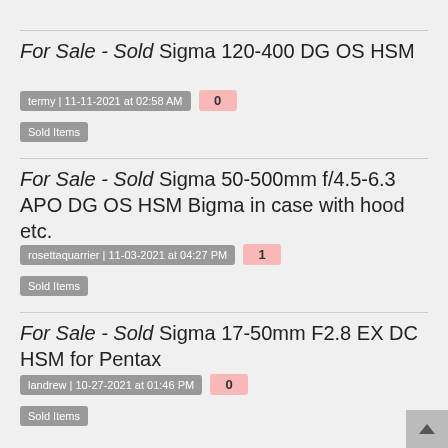For Sale - Sold Sigma 120-400 DG OS HSM
termy | 11-11-2021 at 02:58 AM   0
Sold Items
For Sale - Sold Sigma 50-500mm f/4.5-6.3 APO DG OS HSM Bigma in case with hood etc.
rosettaquarrier | 11-03-2021 at 04:27 PM   1
Sold Items
For Sale - Sold Sigma 17-50mm F2.8 EX DC HSM for Pentax
landrew | 10-27-2021 at 01:46 PM   0
Sold Items
Need advice on Lens what to chose
Gary H Perth | 10-15-2021 at 06:09 AM   22